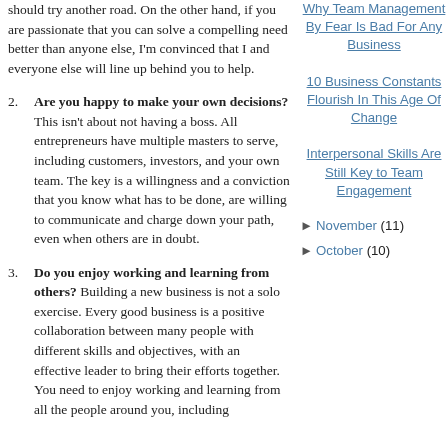should try another road. On the other hand, if you are passionate that you can solve a compelling need better than anyone else, I'm convinced that I and everyone else will line up behind you to help.
2. Are you happy to make your own decisions? This isn't about not having a boss. All entrepreneurs have multiple masters to serve, including customers, investors, and your own team. The key is a willingness and a conviction that you know what has to be done, are willing to communicate and charge down your path, even when others are in doubt.
3. Do you enjoy working and learning from others? Building a new business is not a solo exercise. Every good business is a positive collaboration between many people with different skills and objectives, with an effective leader to bring their efforts together. You need to enjoy working and learning from all the people around you, including
Why Team Management By Fear Is Bad For Any Business
10 Business Constants Flourish In This Age Of Change
Interpersonal Skills Are Still Key to Team Engagement
► November (11)
► October (10)